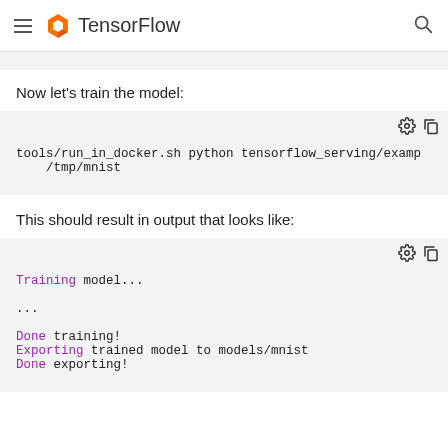TensorFlow
Now let's train the model:
tools/run_in_docker.sh python tensorflow_serving/examp
    /tmp/mnist
This should result in output that looks like:
Training model...

...

Done training!
Exporting trained model to models/mnist
Done exporting!